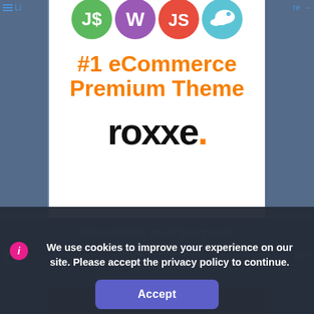[Figure (screenshot): Screenshot of a webpage showing the Roxxe eCommerce Premium Theme product page with colorful technology icons at the top, a bold orange headline '#1 eCommerce Premium Theme', and the 'roxxe.' logo in black with an orange period. A dark cookie consent overlay reads 'We use cookies to improve your experience on our site. Please accept the privacy policy to continue.' with an Accept button.]
We use cookies to improve your experience on our site. Please accept the privacy policy to continue.
Accept